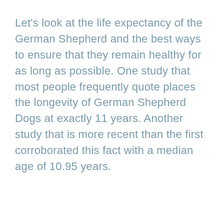Let's look at the life expectancy of the German Shepherd and the best ways to ensure that they remain healthy for as long as possible. One study that most people frequently quote places the longevity of German Shepherd Dogs at exactly 11 years. Another study that is more recent than the first corroborated this fact with a median age of 10.95 years.